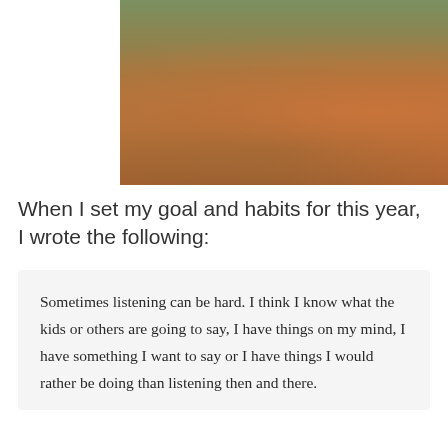[Figure (photo): Child playing in autumn leaves with overlaid inspirational quote text in white]
When I set my goal and habits for this year, I wrote the following:
Sometimes listening can be hard. I think I know what the kids or others are going to say, I have things on my mind, I have something I want to say or I have things I would rather be doing than listening then and there.